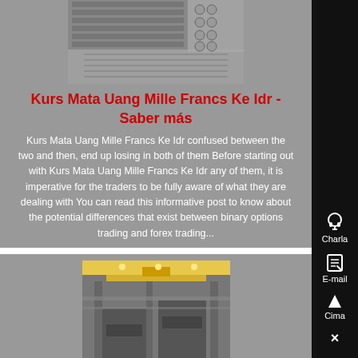[Figure (photo): Close-up photo of industrial machinery or metal equipment parts]
Kurs Mata Uang Mille Francs Ke Idr - Saber más
Kurs Mata Uang Mille Francs Ke Idr confused between the two and then, end up losing in both of them Before starting out with Kurs Mata Uang Mille Francs Ke Idr any of them, it is imperative for the traders to be fully aware of what they are dealing with You can read this informative post to know about the potential differences that exist between binary options trading and forex trading...
[Figure (photo): Interior of industrial factory or manufacturing facility with overhead crane and large machinery]
[Figure (other): Sidebar icons: headset (Charla), notepad/email (E-mail), up arrow (Cima), close X]
Charla
E-mail
Cima